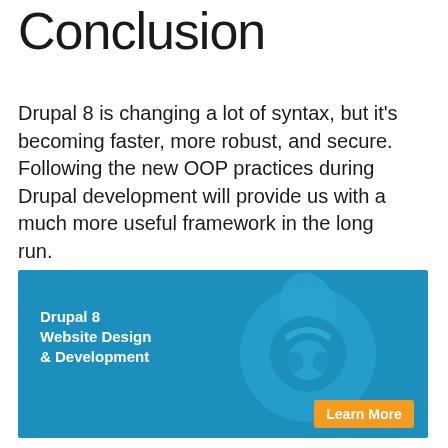Conclusion
Drupal 8 is changing a lot of syntax, but it's becoming faster, more robust, and secure. Following the new OOP practices during Drupal development will provide us with a much more useful framework in the long run.
[Figure (infographic): Blue banner advertisement for Drupal 8 Website Design & Development with the Drupal drop logo and a Learn More button in orange]